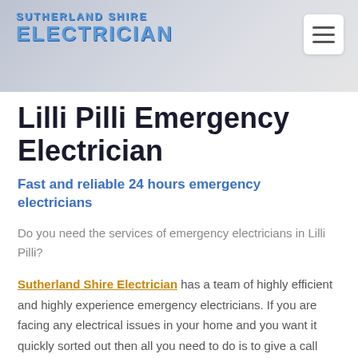SUTHERLAND SHIRE ELECTRICIAN
Lilli Pilli Emergency Electrician
Fast and reliable 24 hours emergency electricians
Do you need the services of emergency electricians in Lilli Pilli?
Sutherland Shire Electrician has a team of highly efficient and highly experience emergency electricians. If you are facing any electrical issues in your home and you want it quickly sorted out then all you need to do is to give a call tour team of emergency electricians. Our team has all the latest devices so that we are able to quickly handle any emergency electrical situation.